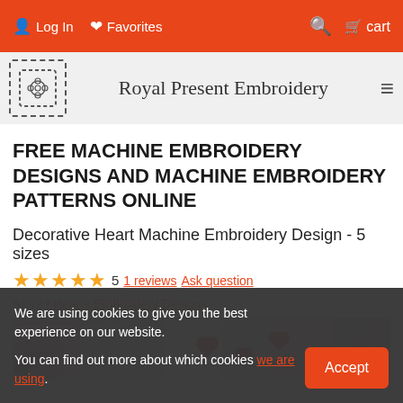Log In  Favorites  [search]  cart
Royal Present Embroidery
FREE MACHINE EMBROIDERY DESIGNS AND MACHINE EMBROIDERY PATTERNS ONLINE
Decorative Heart Machine Embroidery Design - 5 sizes
★★★★★ 5  1 reviews  Ask question
Store / Hearts Embroidery Designs
[Figure (photo): Photo of decorative hearts and a pink rose on a light background]
We are using cookies to give you the best experience on our website.

You can find out more about which cookies we are using.